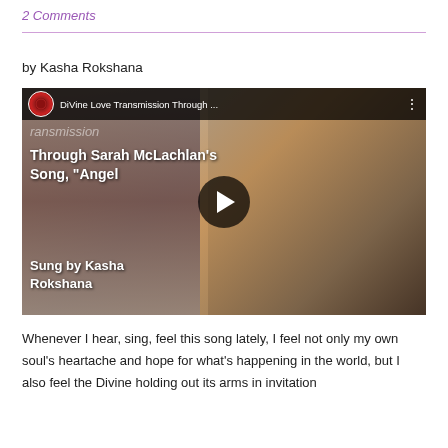2 Comments
by Kasha Rokshana
[Figure (screenshot): Embedded YouTube video thumbnail showing 'DiVine Love Transmission Through Sarah McLachlan's Song, "Angel" Sung by Kasha Rokshana' with a woman holding a guitar on the right side and hands on the left side. A play button is visible in the center.]
Whenever I hear, sing, feel this song lately, I feel not only my own soul's heartache and hope for what's happening in the world, but I also feel the Divine holding out its arms in invitation